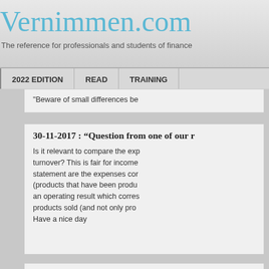Vernimmen.com
The reference for professionals and students of finance
| 2022 EDITION | READ | TRAINING |
| --- | --- | --- |
"Beware of small differences be..."
30-11-2017 : “Question from one of our r..."
Is it relevant to compare the exp... turnover? This is fair for income... statement are the expenses cor... (products that have been produ... an operating result which corres... products sold (and not only pro... Have a nice day
29-11-2017 : “Quote of the day”
"If you see a Swiss banker jump..."